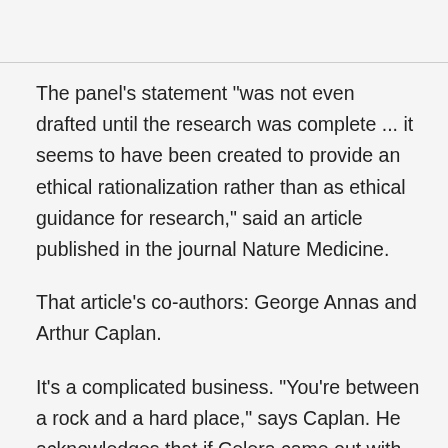The panel's statement "was not even drafted until the research was complete ... it seems to have been created to provide an ethical rationalization rather than as ethical guidance for research," said an article published in the journal Nature Medicine.
That article's co-authors: George Annas and Arthur Caplan.
It's a complicated business. "You're between a rock and a hard place," says Caplan. He acknowledges that if Celera came out with an ethically questionable policy on, say, gene patenting, "I would be stuck. I could